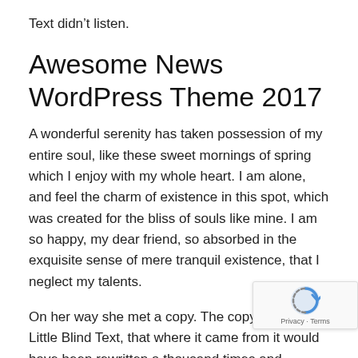Text didn't listen.
Awesome News WordPress Theme 2017
A wonderful serenity has taken possession of my entire soul, like these sweet mornings of spring which I enjoy with my whole heart. I am alone, and feel the charm of existence in this spot, which was created for the bliss of souls like mine. I am so happy, my dear friend, so absorbed in the exquisite sense of mere tranquil existence, that I neglect my talents.
On her way she met a copy. The copy warned the Little Blind Text, that where it came from it would have been rewritten a thousand times and everything that was left from its origin would be the word “and” and the Little Blind Text should turn around and return to its own, safe c... But nothing the copy said could convince her and s... didn't listen. Something for this riding. Over Write...